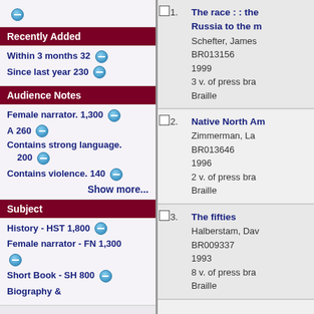Recently Added
Within 3 months 32
Since last year 230
Audience Notes
Female narrator. 1,300
A 260
Contains strong language. 200
Contains violence. 140
Show more...
Subject
History - HST 1,800
Female narrator - FN 1,300
Short Book - SH 800
Biography &
The race : : the Russia to the m
Schefter, James
BR013156
1999
3 v. of press bra
Braille
Native North Am
Zimmerman, La
BR013646
1996
2 v. of press bra
Braille
The fifties
Halberstam, Dav
BR009337
1993
8 v. of press bra
Braille